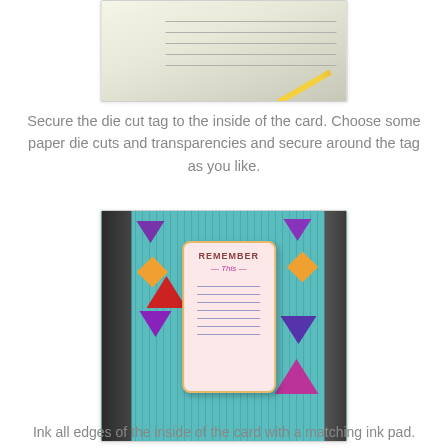[Figure (photo): Top portion of a photo showing a pencil and lined paper on a light background]
Secure the die cut tag to the inside of the card. Choose some paper die cuts and transparencies and secure around the tag as you like.
[Figure (photo): Photo of the inside of an accordion card with teal corrugated background. A die cut tag reading 'REMEMBER This' is centered with colorful paper die cuts (purple triangles, orange diamonds, red shapes) arranged around it.]
Ink all edges of the inside of the card with a matching ink pad.